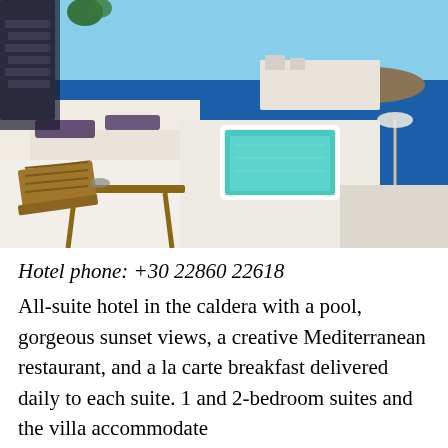[Figure (photo): Photograph of a Santorini hotel with white-washed architecture, a turquoise infinity pool on a terrace, wooden lounge chairs and table in the foreground, and a stunning view of the caldera and blue sea with an island in the background under clear blue sky.]
Hotel phone: +30 22860 22618
All-suite hotel in the caldera with a pool, gorgeous sunset views, a creative Mediterranean restaurant, and a la carte breakfast delivered daily to each suite. 1 and 2-bedroom suites and the villa accommodate